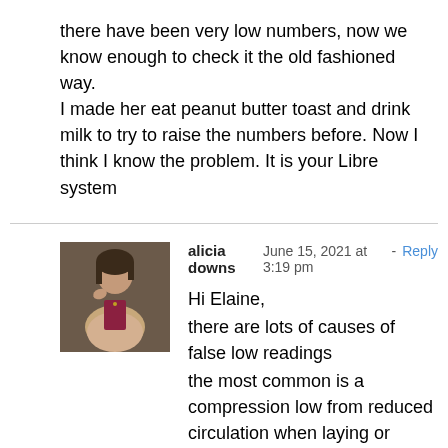there have been very low numbers, now we know enough to check it the old fashioned way.
I made her eat peanut butter toast and drink milk to try to raise the numbers before. Now I think I know the problem. It is your Libre system
alicia downs  June 15, 2021 at 3:19 pm - Reply
Hi Elaine,
there are lots of causes of false low readings
the most common is a compression low from reduced circulation when laying or resting on the CGM.
Another is poor circulation to the